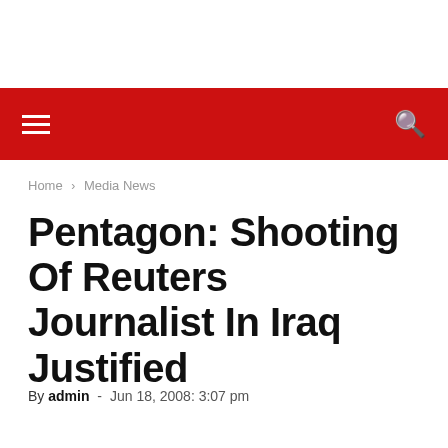Navigation bar with hamburger menu and search icon
Home › Media News
Pentagon: Shooting Of Reuters Journalist In Iraq Justified
By admin - Jun 18, 2008: 3:07 pm